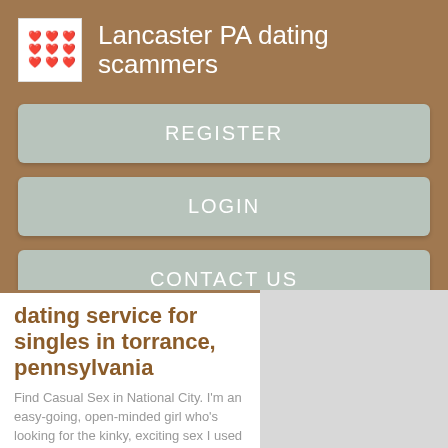Lancaster PA dating scammers
REGISTER
LOGIN
CONTACT US
dating service for singles in torrance, pennsylvania
Find Casual Sex in National City. I'm an easy-going, open-minded girl who's looking for the kinky, exciting sex I used to have.